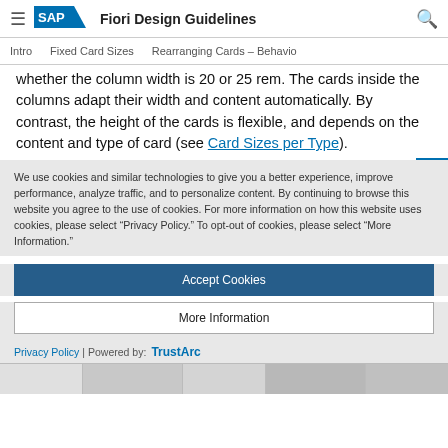SAP Fiori Design Guidelines
Intro   Fixed Card Sizes   Rearranging Cards – Behavior
whether the column width is 20 or 25 rem. The cards inside the columns adapt their width and content automatically. By contrast, the height of the cards is flexible, and depends on the content and type of card (see Card Sizes per Type).
We use cookies and similar technologies to give you a better experience, improve performance, analyze traffic, and to personalize content. By continuing to browse this website you agree to the use of cookies. For more information on how this website uses cookies, please select “Privacy Policy.” To opt-out of cookies, please select “More Information.”
Accept Cookies
More Information
Privacy Policy | Powered by: TrustArc